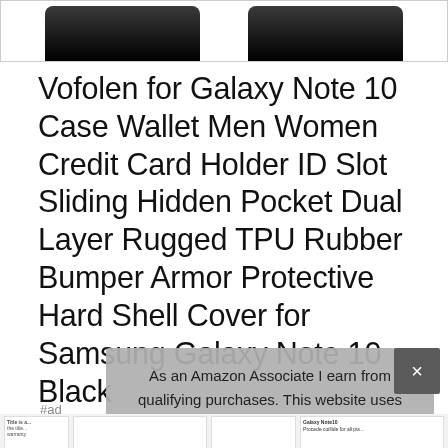[Figure (photo): Product image strip showing two Samsung Galaxy Note 10 wallet cases (black) partially visible at top of page]
Vofolen for Galaxy Note 10 Case Wallet Men Women Credit Card Holder ID Slot Sliding Hidden Pocket Dual Layer Rugged TPU Rubber Bumper Armor Protective Hard Shell Cover for Samsung Galaxy Note 10 Black
#ad
As an Amazon Associate I earn from qualifying purchases. This website uses the only necessary cookies to ensure you get the best experience on our website. More information